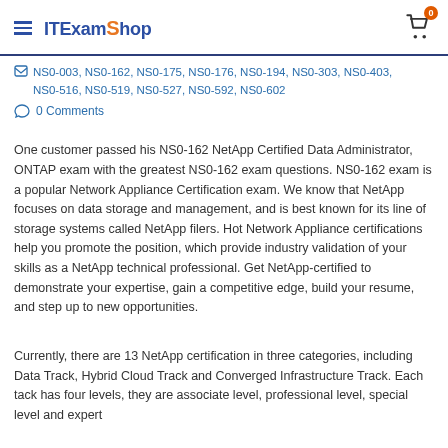ITExamShop
NS0-003, NS0-162, NS0-175, NS0-176, NS0-194, NS0-303, NS0-403, NS0-516, NS0-519, NS0-527, NS0-592, NS0-602
0 Comments
One customer passed his NS0-162 NetApp Certified Data Administrator, ONTAP exam with the greatest NS0-162 exam questions. NS0-162 exam is a popular Network Appliance Certification exam. We know that NetApp focuses on data storage and management, and is best known for its line of storage systems called NetApp filers. Hot Network Appliance certifications help you promote the position, which provide industry validation of your skills as a NetApp technical professional. Get NetApp-certified to demonstrate your expertise, gain a competitive edge, build your resume, and step up to new opportunities.
Currently, there are 13 NetApp certification in three categories, including Data Track, Hybrid Cloud Track and Converged Infrastructure Track. Each tack has four levels, they are associate level, professional level, special level and expert